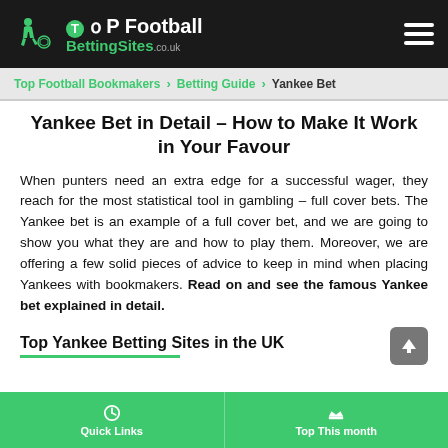Top Football BettingSites.co.uk
Top Football Bookmakers > Betting Guide > Yankee Bet
Yankee Bet in Detail - How to Make It Work in Your Favour
When punters need an extra edge for a successful wager, they reach for the most statistical tool in gambling – full cover bets. The Yankee bet is an example of a full cover bet, and we are going to show you what they are and how to play them. Moreover, we are offering a few solid pieces of advice to keep in mind when placing Yankees with bookmakers. Read on and see the famous Yankee bet explained in detail.
Top Yankee Betting Sites in the UK
Quick Links | Top This month